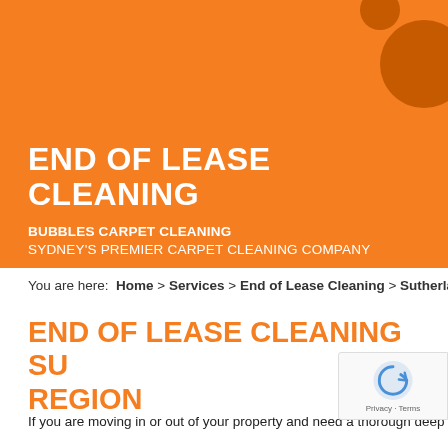[Figure (illustration): Orange semicircle banner with decorative circles. Contains 'END OF LEASE CLEANING' as main heading and 'BUBBLES CARPET CLEANING / SYDNEY'S PREMIER CARPET CLEANING COMPANY' as subheading. Bubbles Carpet Cleaning company banner.]
You are here:  Home  >  Services  >  End of Lease Cleaning  >  Sutherland Re...
END OF LEASE CLEANING SU... REGION
If you are moving in or out of your property and need a thorough deep...